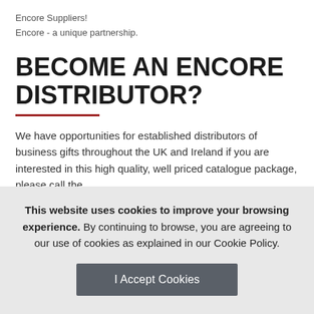Encore Suppliers!
Encore - a unique partnership.
BECOME AN ENCORE DISTRIBUTOR?
We have opportunities for established distributors of business gifts throughout the UK and Ireland if you are interested in this high quality, well priced catalogue package, please call the
This website uses cookies to improve your browsing experience. By continuing to browse, you are agreeing to our use of cookies as explained in our Cookie Policy. I Accept Cookies